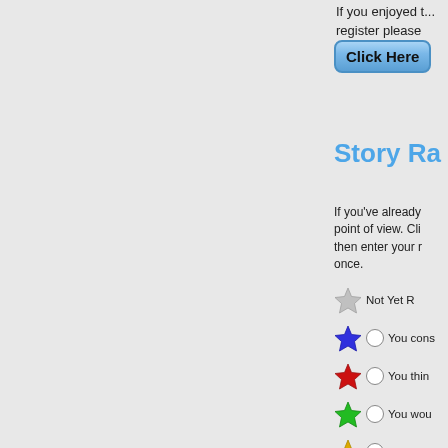If you enjoyed t... register please
Click Here
Story Ra
If you've already... point of view. Cli... then enter your r... once.
Not Yet R
You cons
You thin
You wou
The stor